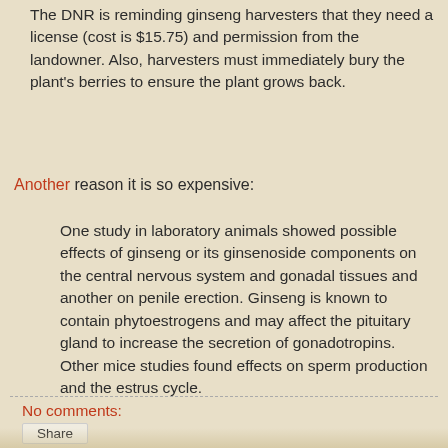The DNR is reminding ginseng harvesters that they need a license (cost is $15.75) and permission from the landowner. Also, harvesters must immediately bury the plant's berries to ensure the plant grows back.
Another reason it is so expensive:
One study in laboratory animals showed possible effects of ginseng or its ginsenoside components on the central nervous system and gonadal tissues and another on penile erection. Ginseng is known to contain phytoestrogens and may affect the pituitary gland to increase the secretion of gonadotropins. Other mice studies found effects on sperm production and the estrus cycle.
No comments:
Share